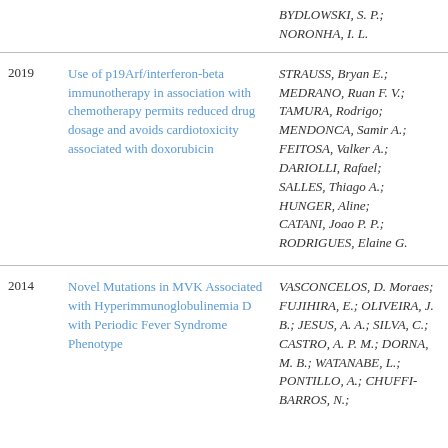| Year | Title | Authors |
| --- | --- | --- |
|  |  | BYDLOWSKI, S. P.; NORONHA, I. L. |
| 2019 | Use of p19Arf/interferon-beta immunotherapy in association with chemotherapy permits reduced drug dosage and avoids cardiotoxicity associated with doxorubicin | STRAUSS, Bryan E.; MEDRANO, Ruan F. V.; TAMURA, Rodrigo; MENDONCA, Samir A.; FEITOSA, Valker A.; DARIOLLI, Rafael; SALLES, Thiago A.; HUNGER, Aline; CATANI, Joao P. P.; RODRIGUES, Elaine G. |
| 2014 | Novel Mutations in MVK Associated with Hyperimmunoglobulinemia D with Periodic Fever Syndrome Phenotype | VASCONCELOS, D. Moraes; FUJIHIRA, E.; OLIVEIRA, J. B.; JESUS, A. A.; SILVA, C.; CASTRO, A. P. M.; DORNA, M. B.; WATANABE, L.; PONTILLO, A.; CHUFFI-BARROS, N.; |